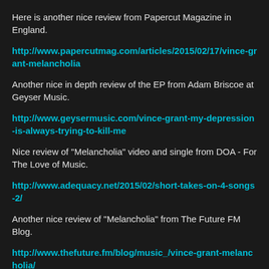Here is another nice review from Papercut Magazine in England.
http://www.papercutmag.com/articles/2015/02/17/vince-grant-melancholia
Another nice in depth review of the EP from Adam Briscoe at Geyser Music.
http://www.geysermusic.com/vince-grant-my-depression-is-always-trying-to-kill-me
Nice review of "Melancholia" video and single from DOA - For The Love of Music.
http://www.adequacy.net/2015/02/short-takes-on-4-songs-2/
Another nice review of "Melancholia" from The Future FM Blog.
http://www.thefuture.fm/blog/music_/vince-grant-melancholia/
"Melancholia" made the top video picks of the week over at UK site Live4ever.
http://www.live4ever.uk.com/2015/02/live4evers-new-tunes-guide-crows-sea-change-and-more/